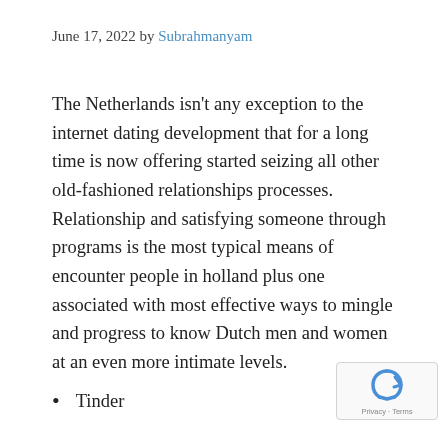June 17, 2022 by Subrahmanyam
The Netherlands isn't any exception to the internet dating development that for a long time is now offering started seizing all other old-fashioned relationships processes. Relationship and satisfying someone through programs is the most typical means of encounter people in holland plus one associated with most effective ways to mingle and progress to know Dutch men and women at an even more intimate levels.
Tinder